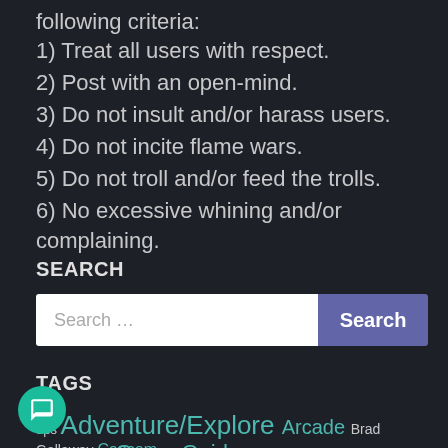following criteria:
1) Treat all users with respect.
2) Post with an open-mind.
3) Do not insult and/or harass users.
4) Do not incite flame wars.
5) Do not troll and/or feed the trolls.
6) No excessive whining and/or complaining.
SEARCH
Search ...
TAGS
3ps Adventure/Explore Arcade Brad Gallaway Capcom Consumer Game Guides Dreamcast Driving Editorials E...